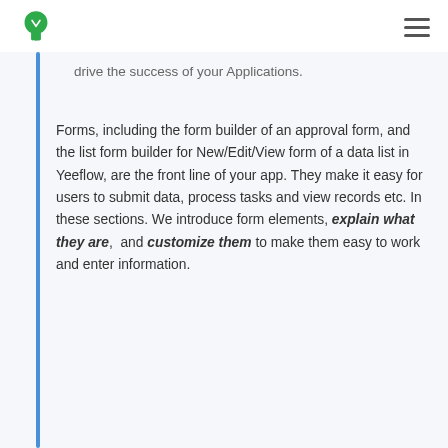[Yeeflow logo] [hamburger menu]
drive the success of your Applications.
Forms, including the form builder of an approval form, and the list form builder for New/Edit/View form of a data list in Yeeflow, are the front line of your app. They make it easy for users to submit data, process tasks and view records etc. In these sections. We introduce form elements, explain what they are,  and customize them to make them easy to work and enter information.